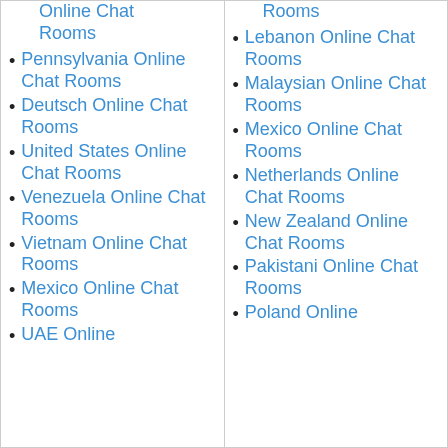Online Chat Rooms
Pennsylvania Online Chat Rooms
Deutsch Online Chat Rooms
United States Online Chat Rooms
Venezuela Online Chat Rooms
Vietnam Online Chat Rooms
Mexico Online Chat Rooms
UAE Online
Rooms
Lebanon Online Chat Rooms
Malaysian Online Chat Rooms
Mexico Online Chat Rooms
Netherlands Online Chat Rooms
New Zealand Online Chat Rooms
Pakistani Online Chat Rooms
Poland Online